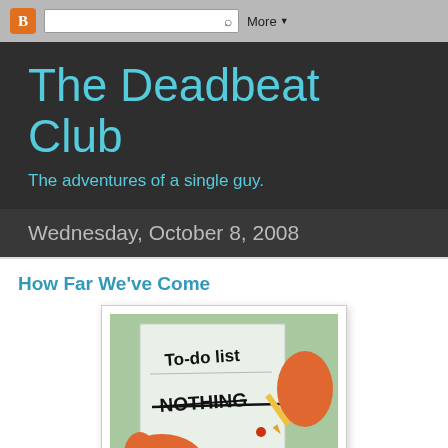B | [search] | More ▼
The Deadbeat Club
The adventures of a single guy.
Wednesday, October 8, 2008
How Far We've Come
[Figure (illustration): A cartoon hand holding a pencil writing on a note that reads 'To-do list' at the top and 'NOTHING' crossed out below, styled from SpongeBob SquarePants animation.]